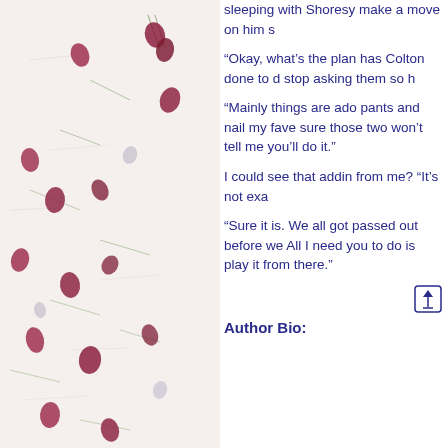[Figure (illustration): Decorative background image of pressed flower petals (dark red/maroon) and thin green leaves/stems scattered on a white textured surface, watercolor style.]
sleeping with Shoresy make a move on him s
“Okay, what’s the plan has Colton done to d stop asking them so h
“Mainly things are ado pants and nail my fave sure those two won’t tell me you’ll do it.”
I could see that addin from me? “It’s not exa
“Sure it is. We all got passed out before we All I need you to do is play it from there.”
Author Bio: